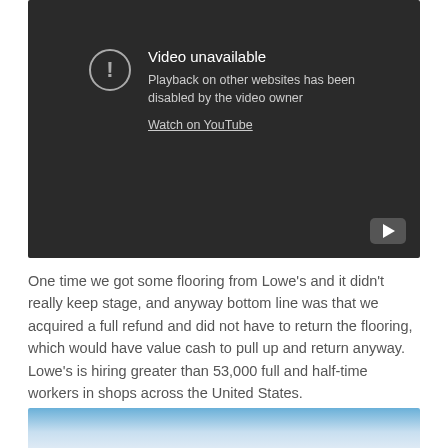[Figure (screenshot): YouTube video embed showing 'Video unavailable' error message. Dark gray background with exclamation mark icon in a circle, text reading 'Video unavailable', subtitle 'Playback on other websites has been disabled by the video owner', and a 'Watch on YouTube' link. YouTube play button icon in bottom right corner.]
One time we got some flooring from Lowe's and it didn't really keep stage, and anyway bottom line was that we acquired a full refund and did not have to return the flooring, which would have value cash to pull up and return anyway. Lowe's is hiring greater than 53,000 full and half-time workers in shops across the United States.
[Figure (photo): Partial blue gradient image visible at the bottom of the page, light blue fading to white.]